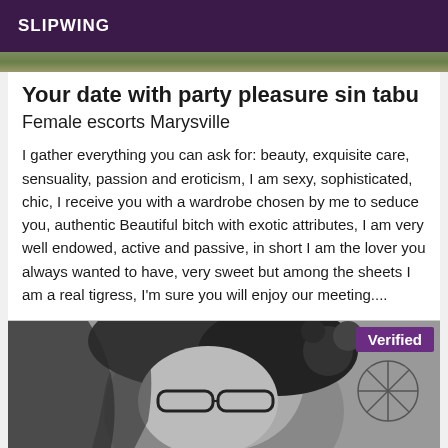SLIPWING
[Figure (photo): Partial top image, appears to be a blurred outdoor photo]
Your date with party pleasure sin tabu
Female escorts Marysville
I gather everything you can ask for: beauty, exquisite care, sensuality, passion and eroticism, I am sexy, sophisticated, chic, I receive you with a wardrobe chosen by me to seduce you, authentic Beautiful bitch with exotic attributes, I am very well endowed, active and passive, in short I am the lover you always wanted to have, very sweet but among the sheets I am a real tigress, I'm sure you will enjoy our meeting....
[Figure (photo): Black and white photo of a woman with glasses and floral headpiece, with a Verified badge in the top right corner]